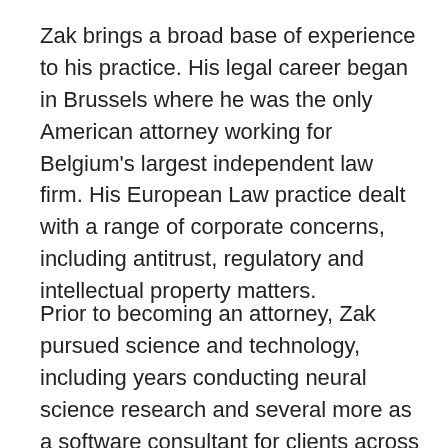Zak brings a broad base of experience to his practice. His legal career began in Brussels where he was the only American attorney working for Belgium's largest independent law firm. His European Law practice dealt with a range of corporate concerns, including antitrust, regulatory and intellectual property matters.
Prior to becoming an attorney, Zak pursued science and technology, including years conducting neural science research and several more as a software consultant for clients across the US and Europe. He continues to closely follow the latest developments and regularly provides technology counseling to the